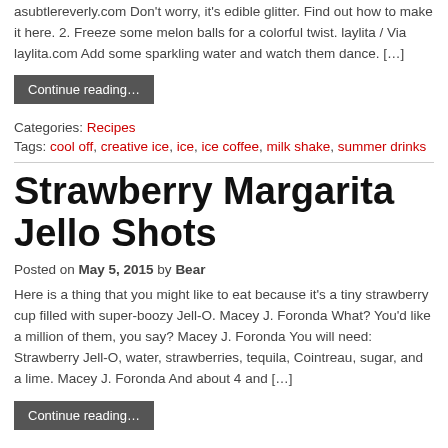asubtlereverly.com Don't worry, it's edible glitter. Find out how to make it here. 2. Freeze some melon balls for a colorful twist. laylita / Via laylita.com Add some sparkling water and watch them dance. […]
Continue reading…
Categories: Recipes
Tags: cool off, creative ice, ice, ice coffee, milk shake, summer drinks
Strawberry Margarita Jello Shots
Posted on May 5, 2015 by Bear
Here is a thing that you might like to eat because it's a tiny strawberry cup filled with super-boozy Jell-O. Macey J. Foronda What? You'd like a million of them, you say? Macey J. Foronda You will need: Strawberry Jell-O, water, strawberries, tequila, Cointreau, sugar, and a lime. Macey J. Foronda And about 4 and […]
Continue reading…